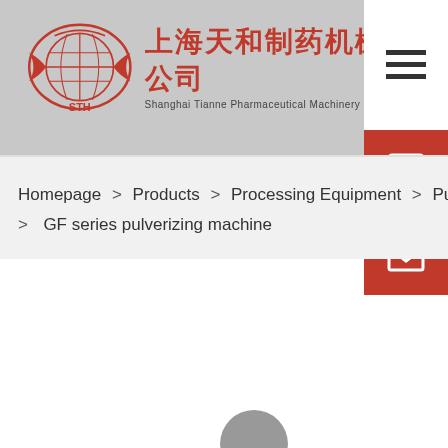[Figure (logo): Shanghai Tianne Pharmaceutical Machinery Co., Ltd. logo with circular globe emblem and STH text, with Chinese company name 上海天和制药机械有限公司 and English name below]
Homepage > Products > Processing Equipment > Pulverizer > GF series pulverizing machine